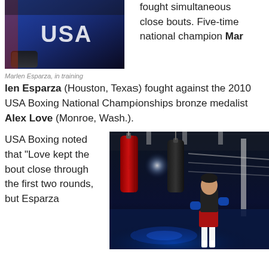[Figure (photo): Marlen Esparza in training, wearing USA boxing jersey, close-up upper body shot]
fought simultaneous close bouts. Five-time national champion Marlen Esparza (Houston, Texas) fought against the 2010 USA Boxing National Championships bronze medalist Alex Love (Monroe, Wash.).
Marlen Esparza, in training
USA Boxing noted that “Love kept the bout close through the first two rounds, but Esparza
[Figure (photo): Boxer standing in boxing ring with punching bags, blue lit floor, gloves on, wearing dark shorts and red trunks]